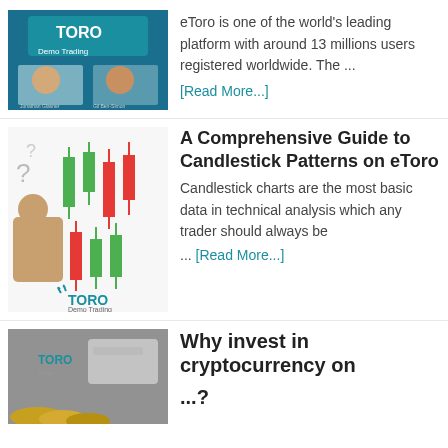[Figure (photo): eToro Demo Trading thumbnail showing two men smiling with eToro logo]
eToro is one of the world's leading platform with around 13 millions users registered worldwide. The ...
[Read More...]
[Figure (photo): Candlestick patterns image with green and red candles and question marks, eToro Demo Trading logo]
A Comprehensive Guide to Candlestick Patterns on eToro
Candlestick charts are the most basic data in technical analysis which any trader should always be ... [Read More...]
[Figure (photo): Why invest in cryptocurrency on eToro - blurred image with coins and eToro logo]
Why invest in cryptocurrency on ...?